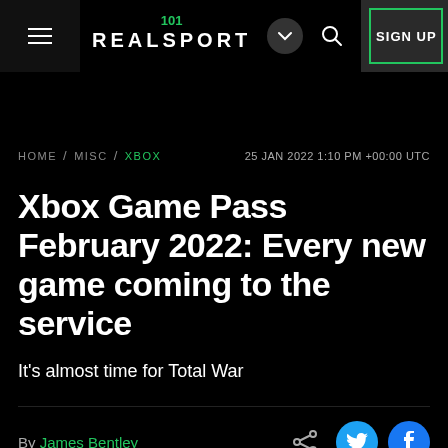REALSPORT 101
HOME / MISC / XBOX  25 JAN 2022 1:10 PM +00:00 UTC
Xbox Game Pass February 2022: Every new game coming to the service
It's almost time for Total War
By James Bentley